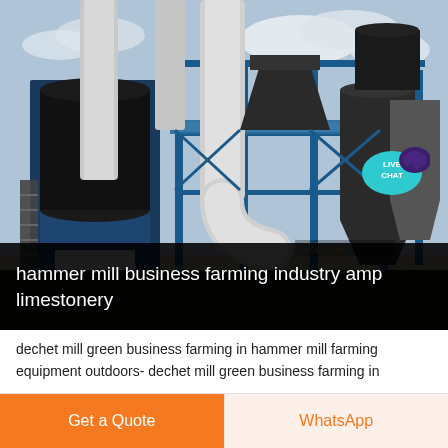[Figure (photo): Industrial hammer mill / grinding plant equipment outdoors, showing large blue steel structures, white pipes, silos, and conveyors on a construction site.]
hammer mill business farming industry amp limestonery
dechet mill green business farming in hammer mill farming equipment outdoors- dechet mill green business farming in
Get a Quote
WhatsApp